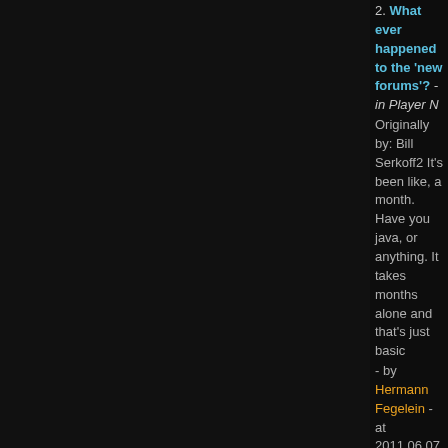2. What ever happened to the 'new forums'? - in Player ... Originally by: Bill Serkoff2 It's been like, a month. Have you... java, or anything. It takes months alone and that's just basic... - by Hermann Fegelein - at 2011.06.07 23:17:00
3. Breaking news: Halo 4 Xbox 360 exclusive - in EVE G... Originally by: Fix Lag The new idiots in charge of Halo are t... the "new idiots" are actually former bungie employees. A lot... - by Hermann Fegelein - at 2011.06.07 23:11:00
4. I hope your happy CCP - in EVE General Discussion [o... I'm saddened to see that you are putting disclaimers mentio... obvious? ------------------------------------------------ Bringen sie m... - by Hermann Fegelein - at 2011.06.07 23:02:00
5. Haters be haters. Dust 514 will be awesome, and I wi... Originally by: Lady Spank Edited by: Lady Spank on 07/06/... antagonise people for having a valid opinion. Enjoy your loc... - by Hermann Fegelein - at 2011.06.07 23:00:00
6. The EVE Storyline needs a serious update. - in EVE G... Edited by: Hermann Fegelein on 07/06/2011 22:58:31 With... going to be getting an update to the story line in a few years... - by Hermann Fegelein - at 2011.06.07 22:58:00
7. Gallante Weapons advice - in EVE General Discussion... Originally by: Potrondal Morrison does doing this make gall... wont go there until im skill trained enough to stand half a ch... - by Hermann Fegelein - at 2011.06.07 22:39:00
8. What ever happened to the 'new forums'? - in Player N... There was security problems. So they are fixing it. ----------... FEGELEIN! - by Hermann Fegelein - at 2011.06.07 22:??:??